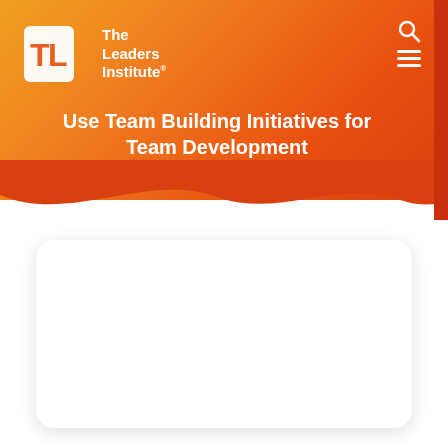[Figure (logo): The Leaders Institute logo — white TL icon with 'The Leaders Institute' text in white on orange/red gradient background]
Use Team Building Initiatives for Team Development
[Figure (other): White rounded rectangle content card with drop shadow on white background]